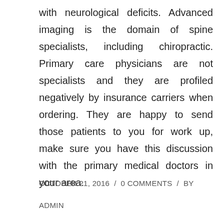with neurological deficits. Advanced imaging is the domain of spine specialists, including chiropractic. Primary care physicians are not specialists and they are profiled negatively by insurance carriers when ordering. They are happy to send those patients to you for work up, make sure you have this discussion with the primary medical doctors in your area.
OCTOBER 21, 2016 / 0 COMMENTS / BY ADMIN